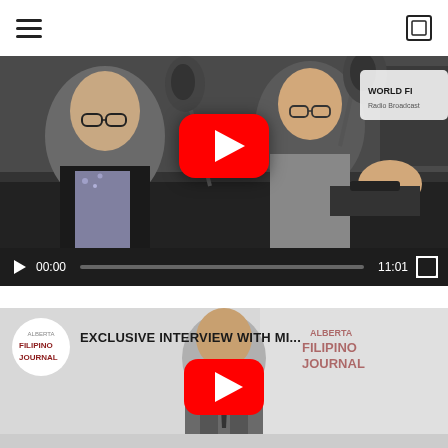Navigation menu and search icon
[Figure (screenshot): YouTube video player showing two men in a radio studio with microphones. Video is paused at 00:00, total duration 11:01. A red YouTube play button is centered on the thumbnail. Controls bar at bottom shows play button, timestamp 00:00, progress bar, duration 11:01, and fullscreen icon. A 'WORLD FI' badge is partially visible at top right.]
[Figure (screenshot): YouTube video thumbnail showing a man in a suit in a studio setting. Title text reads 'EXCLUSIVE INTERVIEW WITH MI...' The Alberta Filipino Journal logo is in the top left. A red YouTube play button is centered on the thumbnail.]